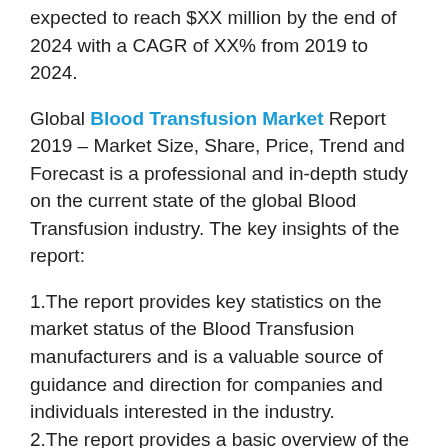expected to reach $XX million by the end of 2024 with a CAGR of XX% from 2019 to 2024.
Global Blood Transfusion Market Report 2019 – Market Size, Share, Price, Trend and Forecast is a professional and in-depth study on the current state of the global Blood Transfusion industry. The key insights of the report:
1.The report provides key statistics on the market status of the Blood Transfusion manufacturers and is a valuable source of guidance and direction for companies and individuals interested in the industry.
2.The report provides a basic overview of the industry including its definition, applications and manufacturing technology.